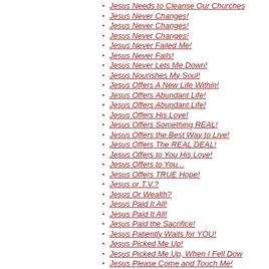Jesus Needs to Cleanse Our Churches
Jesus Never Changes!
Jesus Never Changes!
Jesus Never Changes!
Jesus Never Failed Me!
Jesus Never Fails!
Jesus Never Lets Me Down!
Jesus Nourishes My Soul!
Jesus Offers A New Life Within!
Jesus Offers Abundant Life!
Jesus Offers Abundant Life!
Jesus Offers His Love!
Jesus Offers Something REAL!
Jesus Offers the Best Way to Live!
Jesus Offers The REAL DEAL!
Jesus Offers to You His Love!
Jesus Offers to You...
Jesus Offers TRUE Hope!
Jesus or T.V.?
Jesus Or Wealth?
Jesus Paid It All!
Jesus Paid It All!
Jesus Paid the Sacrifice!
Jesus Patiently Waits for YOU!
Jesus Picked Me Up!
Jesus Picked Me Up, When I Fell Dow
Jesus Please Come and Touch Me!
Jesus Please Take away My Sin
Jesus Please Take Control
Jesus Please Take Control!